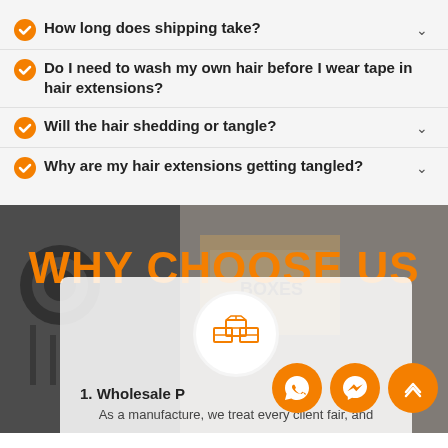How long does shipping take?
Do I need to wash my own hair before I wear tape in hair extensions?
Will the hair shedding or tangle?
Why are my hair extensions getting tangled?
[Figure (photo): Manufacturing facility background image with industrial machine and boxes]
WHY CHOOSE US
[Figure (illustration): Boxes/wholesale icon in a white circle]
1. Wholesale P
As a manufacture, we treat every client fair, and